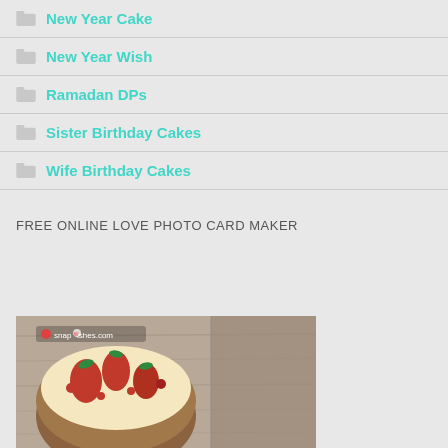New Year Cake
New Year Wish
Ramadan DPs
Sister Birthday Cakes
Wife Birthday Cakes
FREE ONLINE LOVE PHOTO CARD MAKER
[Figure (photo): A cake decorated with strawberries and red berries on a wooden surface, with snapwishes.com watermark]